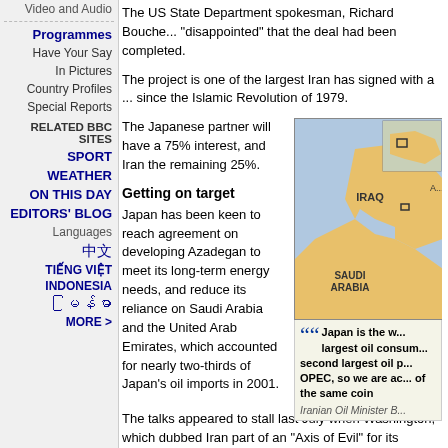Video and Audio
Programmes
Have Your Say
In Pictures
Country Profiles
Special Reports
RELATED BBC SITES
SPORT
WEATHER
ON THIS DAY
EDITORS' BLOG
Languages
中文
TIẾNG VIỆT
INDONESIA
မြန်မာ
MORE >
The US State Department spokesman, Richard Bouche... "disappointed" that the deal had been completed.
The project is one of the largest Iran has signed with a ... since the Islamic Revolution of 1979.
The Japanese partner will have a 75% interest, and Iran the remaining 25%.
Getting on target
Japan has been keen to reach agreement on developing Azadegan to meet its long-term energy needs, and reduce its reliance on Saudi Arabia and the United Arab Emirates, which accounted for nearly two-thirds of Japan's oil imports in 2001.
[Figure (map): Map showing Middle East region with Iraq and Saudi Arabia labeled, with a small locator inset in the top-right corner]
Japan is the world's second largest oil consumer and ... OPEC, so we are ... of the same coin
Iranian Oil Minister B...
The talks appeared to stall last July when Washington, which dubbed Iran part of an "Axis of Evil" for its nuclear programme, for being ready to deal with Tehran.
The negotiations reportedly resumed after Iran agreed ... its nuclear facilities late last year.
"Japan is the world's second largest oil consumer and ...